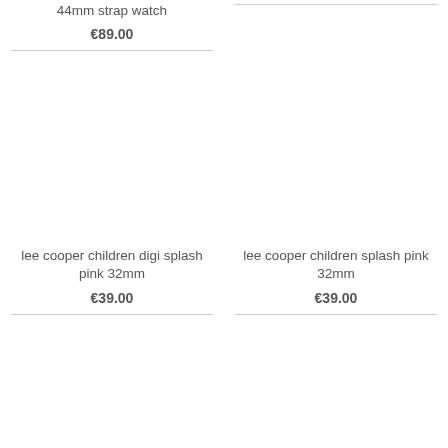44mm strap watch
€89.00
[Figure (other): Product image placeholder (white/empty) for lee cooper children digi splash pink 32mm]
lee cooper children digi splash pink 32mm
€39.00
[Figure (other): Product image placeholder (white/empty) for lee cooper children splash pink 32mm]
lee cooper children splash pink 32mm
€39.00